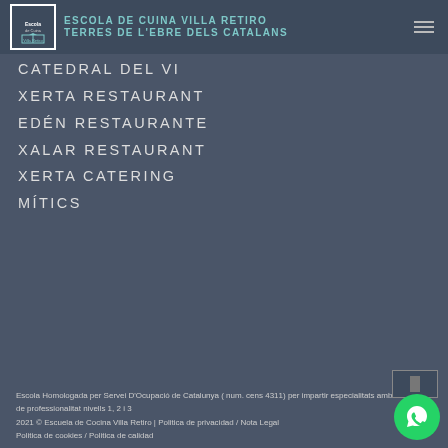ESCOLA DE CUINA VILLA RETIRO / TERRES DE L'EBRE DELS CATALANS
CATEDRAL DEL VI
XERTA RESTAURANT
EDÉN RESTAURANTE
XALAR RESTAURANT
XERTA CATERING
MÍTICS
Escola Homologada per Servei D'Ocupació de Catalunya ( num. cens 4311) per impartir especialitats amb certificats de professionalitat nivells 1, 2 i 3
2021 © Escuela de Cocina Villa Retiro | Politica de privacidad / Nota Legal
Politica de cookies / Politica de calidad